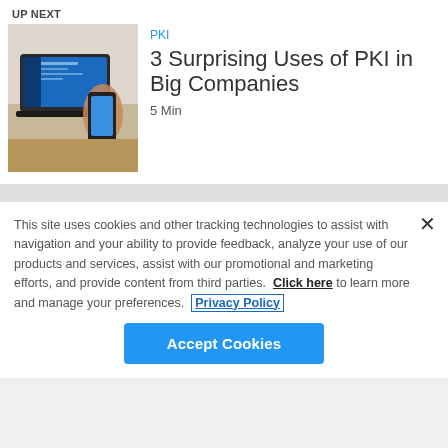UP NEXT
[Figure (photo): Person using a laptop and smartphone at a desk]
3 Surprising Uses of PKI in Big Companies
PKI
5 Min
This site uses cookies and other tracking technologies to assist with navigation and your ability to provide feedback, analyze your use of our products and services, assist with our promotional and marketing efforts, and provide content from third parties.  Click here to learn more and manage your preferences.  Privacy Policy
Accept Cookies